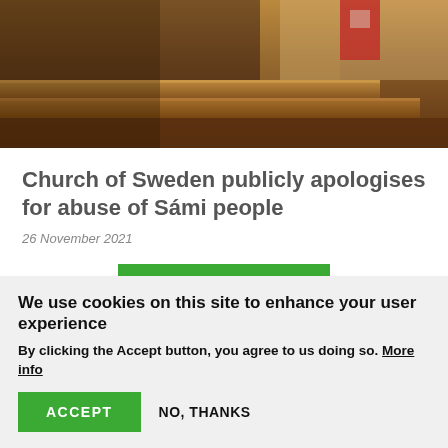[Figure (photo): Interior of a church showing wooden steps/altar area with a figure in red in the background]
Church of Sweden publicly apologises for abuse of Sámi people
26 November 2021
SEE MORE
We use cookies on this site to enhance your user experience
By clicking the Accept button, you agree to us doing so. More info
ACCEPT
NO, THANKS